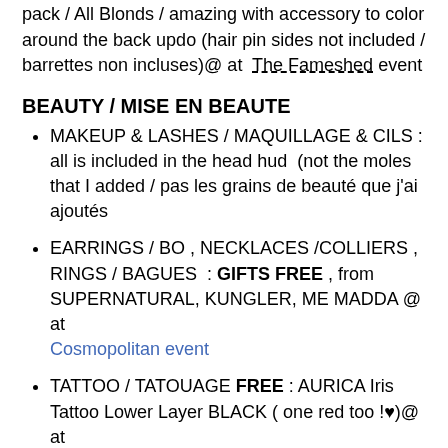pack / All Blonds / amazing with accessory to color around the back updo (hair pin sides not included / barrettes non incluses)@ at The Fameshed event
BEAUTY / MISE EN BEAUTE
MAKEUP & LASHES / MAQUILLAGE & CILS : all is included in the head hud (not the moles that I added / pas les grains de beauté que j'ai ajoutés
EARRINGS / BO , NECKLACES /COLLIERS , RINGS / BAGUES : GIFTS FREE , from SUPERNATURAL, KUNGLER, ME MADDA @ at Cosmopolitan event
TATTOO / TATOUAGE FREE : AURICA Iris Tattoo Lower Layer BLACK ( one red too !♥)@ at Cosmopolitan event
OUTFIT / TENUE
DRESS / ROBE NEW 55 LDs OFFER : FURTACOLOR Aiko dress, goes sexy with an